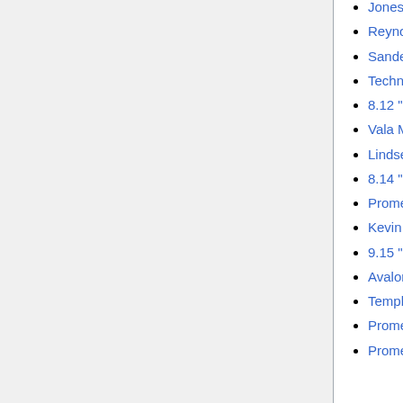Jones (← links)
Reynolds ("Prometheus") (← links)
Sanderson (← links)
Technical Sergeant (← links)
8.12 "Prometheus Unbound" Episode Guide (← links)
Vala Mal Doran (← links)
Lindsey Novak (← links)
8.14 "Full Alert" Episode Guide (← links)
Prometheus (← links)
Kevin Marks (← links)
9.15 "Ethon" Episode Guide (← links)
Avalon (← links)
Template:Prometheus (← links)
Prometheus: Propulsion and Maneuvering (← links)
Prometheus: Weaponry and Defense